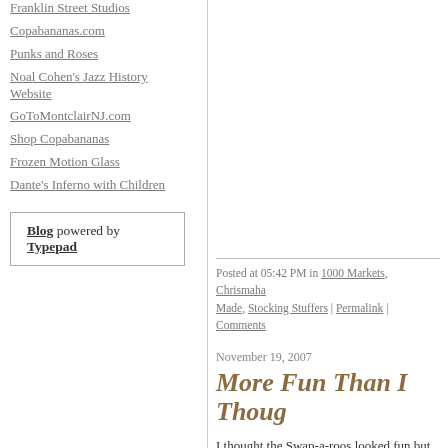Franklin Street Studios
Copabananas.com
Punks and Roses
Noal Cohen's Jazz History Website
GoToMontclairNJ.com
Shop Copabananas
Frozen Motion Glass
Dante's Inferno with Children
Blog powered by Typepad
Posted at 05:42 PM in 1000 Markets, Chrismaha Made, Stocking Stuffers | Permalink | Comments
November 19, 2007
More Fun Than I Thoug
I thought the Swap-a-roos looked fun but play with them yesterday. She swapped h up in size order, it just went on and on an for a while, for example, Thanksgiving din